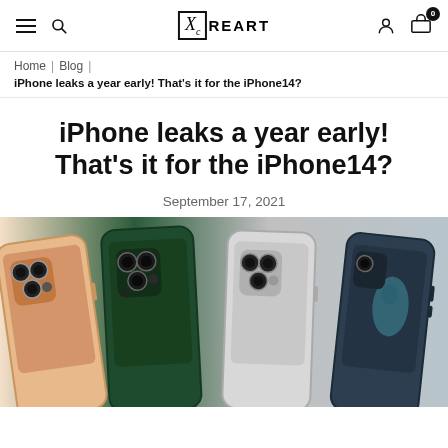≡  🔍  XₓREART  👤  🛒 0
Home | Blog | iPhone leaks a year early! That's it for the iPhone14?
iPhone leaks a year early! That's it for the iPhone14?
September 17, 2021
[Figure (photo): Four iPhone 13 Pro models shown from the back side by side: gold/pink, dark green, silver/white, and a dark blue/green colorway, displaying the triple camera systems.]